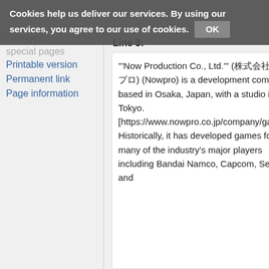Cookies help us deliver our services. By using our services, you agree to our use of cookies. OK
changes
special pages
Printable version
Permanent link
Page information
Line 3:
Line 3:
'''Now Production Co., Ltd.''' (株式会社ノウプロ) (Nowpro) is a development company based in Osaka, Japan, with a studio in Tokyo. [https://www.nowpro.co.jp/company/gaiyou/] Historically, it has developed games for many of the industry's major players including Bandai Namco, Capcom, Sega, and
'''Now Production Co., Ltd.''' (株式会社ノウプロ) (Nowpro) is a development company based in Osaka, Japan, with a studio in Tokyo. [https://www.nowpro.co.jp/company/gaiyou/] Historically, it has developed games for many of the industry's major players including Bandai Namco, Capcom, Sega, and